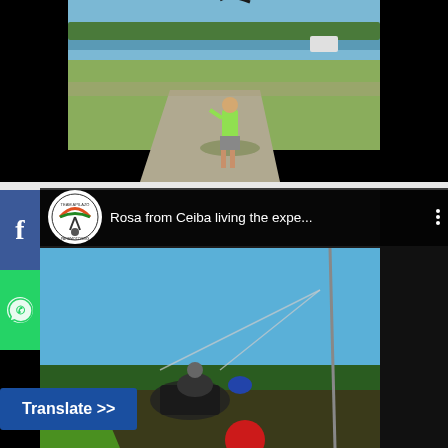[Figure (photo): Outdoor scene with a person in a green shirt walking on a concrete path near a grassy area with a beach/ocean visible in the background. Black bars on left and right sides.]
[Figure (screenshot): Video thumbnail showing a paragliding/paramotoring scene. Header shows a circular logo (Team Apilazo / Paramotoring logo) and text 'Rosa from Ceiba living the expe...' with three-dot menu. Background shows a person with paramotor equipment near trees and blue sky. Facebook and WhatsApp social share buttons on the left edge.]
Rosa from Ceiba living the expe...
Translate >>